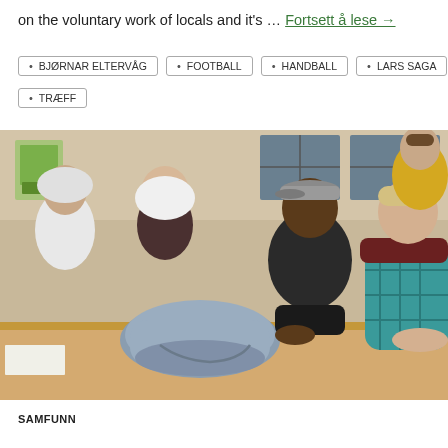on the voluntary work of locals and it's … Fortsett å lese →
BJØRNAR ELTERVÅG
FOOTBALL
HANDBALL
LARS SAGA
TRÆFF
[Figure (photo): Group of young people sitting around a table in a classroom or meeting room setting, having conversations. A person in a cap and leather jacket is talking to a person in a teal plaid shirt. Background shows more people, windows, and a poster on the wall.]
SAMFUNN
...